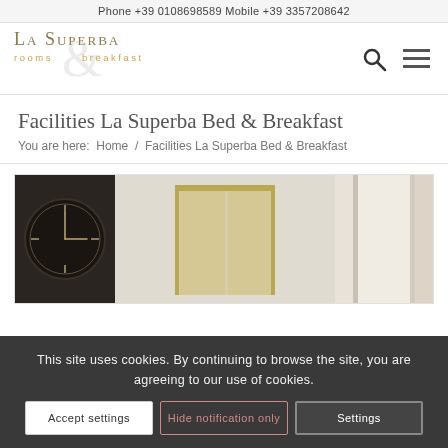Phone +39 0108698589 Mobile +39 3357208642
[Figure (logo): La Superba rooms & breakfast logo with decorative ampersand]
Facilities La Superba Bed & Breakfast
You are here:  Home  /  Facilities La Superba Bed & Breakfast
[Figure (photo): Interior room photo showing a large decorative wall clock on the left, ornate gold-framed glass doors in the center, and an elegant white doorframe on the right]
This site uses cookies. By continuing to browse the site, you are agreeing to our use of cookies.
Accept settings  |  Hide notification only  |  Settings